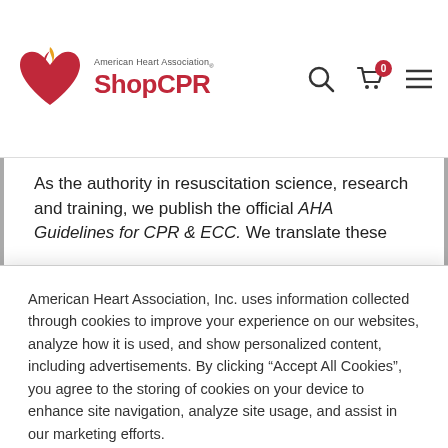[Figure (logo): American Heart Association ShopCPR logo with red heart/flame icon, search icon, cart icon with 0 badge, and hamburger menu icon in the header navigation bar]
As the authority in resuscitation science, research and training, we publish the official AHA Guidelines for CPR & ECC. We translate these
American Heart Association, Inc. uses information collected through cookies to improve your experience on our websites, analyze how it is used, and show personalized content, including advertisements. By clicking “Accept All Cookies”, you agree to the storing of cookies on your device to enhance site navigation, analyze site usage, and assist in our marketing efforts.
Cookies Settings
Accept All Cookies